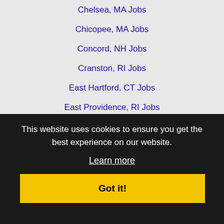Chelsea, MA Jobs
Chicopee, MA Jobs
Concord, NH Jobs
Cranston, RI Jobs
East Hartford, CT Jobs
East Providence, RI Jobs
Fall River, MA Jobs
Framingham, MA Jobs
Hartford, CT Jobs
Haverhill, MA Jobs
Lawrence, MA Jobs
Lowell, MA Jobs
Lynn, MA Jobs
Malden, MA Jobs
Manchester, NH Jobs
Marthas Vineyard, MA Jobs
Medford, MA Jobs
This website uses cookies to ensure you get the best experience on our website.
Learn more
Got it!